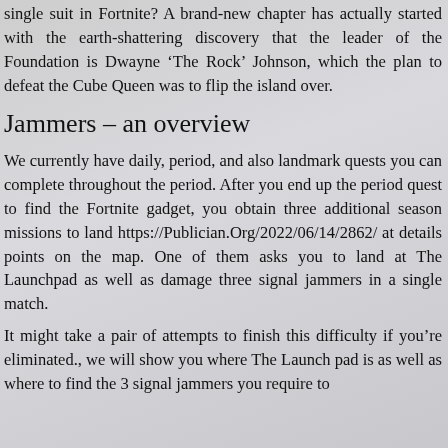single suit in Fortnite? A brand-new chapter has actually started with the earth-shattering discovery that the leader of the Foundation is Dwayne ‘The Rock’ Johnson, which the plan to defeat the Cube Queen was to flip the island over.
Jammers – an overview
We currently have daily, period, and also landmark quests you can complete throughout the period. After you end up the period quest to find the Fortnite gadget, you obtain three additional season missions to land https://Publician.Org/2022/06/14/2862/ at details points on the map. One of them asks you to land at The Launchpad as well as damage three signal jammers in a single match.
It might take a pair of attempts to finish this difficulty if you’re eliminated., we will show you where The Launch pad is as well as where to find the 3 signal jammers you require to